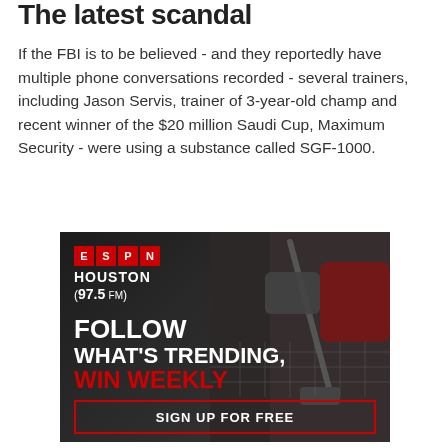The latest scandal
If the FBI is to be believed - and they reportedly have multiple phone conversations recorded - several trainers, including Jason Servis, trainer of 3-year-old champ and recent winner of the $20 million Saudi Cup, Maximum Security - were using a substance called SGF-1000.
[Figure (other): ESPN Houston 97.5 FM advertisement with dark background and sports equipment imagery. Text reads: FOLLOW WHAT'S TRENDING, WIN WEEKLY. Sign up for free button at bottom.]